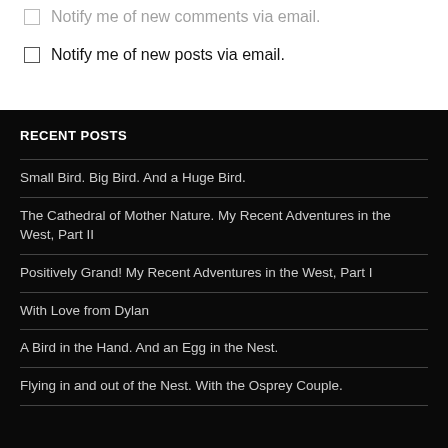Notify me of new comments via email.
Notify me of new posts via email.
RECENT POSTS
Small Bird. Big Bird. And a Huge Bird.
The Cathedral of Mother Nature. My Recent Adventures in the West, Part II
Positively Grand! My Recent Adventures in the West, Part I
With Love from Dylan
A Bird in the Hand. And an Egg in the Nest.
Flying in and out of the Nest. With the Osprey Couple.